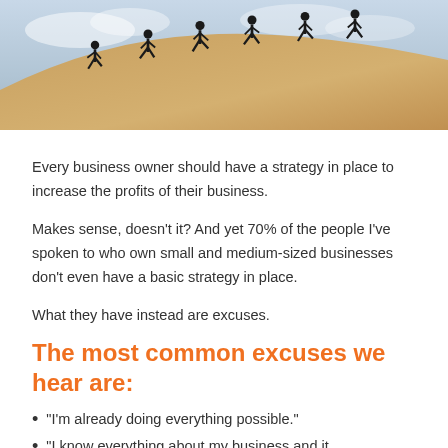[Figure (photo): Silhouettes of six people running up a sandy dune against a cloudy sky]
Every business owner should have a strategy in place to increase the profits of their business.
Makes sense, doesn't it? And yet 70% of the people I've spoken to who own small and medium-sized businesses don't even have a basic strategy in place.
What they have instead are excuses.
The most common excuses we hear are:
“I’m already doing everything possible.”
“I know everything about my business and it…”